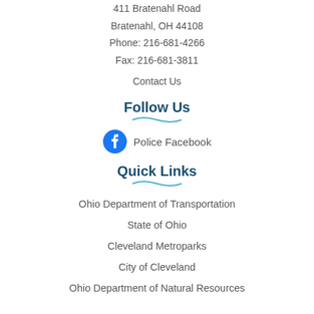411 Bratenahl Road
Bratenahl, OH 44108
Phone: 216-681-4266
Fax: 216-681-3811
Contact Us
Follow Us
Police Facebook
Quick Links
Ohio Department of Transportation
State of Ohio
Cleveland Metroparks
City of Cleveland
Ohio Department of Natural Resources